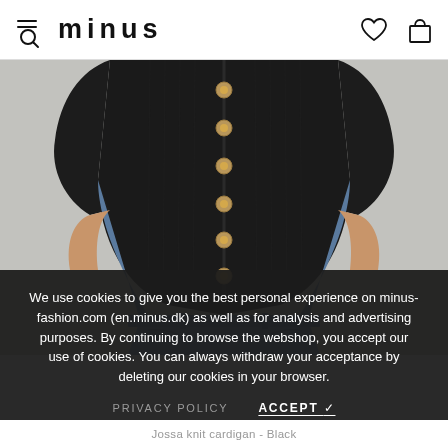minus (logo/brand name with menu and search icon, wishlist and basket icons)
[Figure (photo): A woman wearing a black short-sleeve knit cardigan with gold buttons over a light blue denim skirt. The background is light grey. Only the torso and upper waist area are visible.]
We use cookies to give you the best personal experience on minus-fashion.com (en.minus.dk) as well as for analysis and advertising purposes. By continuing to browse the webshop, you accept our use of cookies. You can always withdraw your acceptance by deleting our cookies in your browser.
PRIVACY POLICY    ACCEPT ✓
Jossa knit cardigan - Black